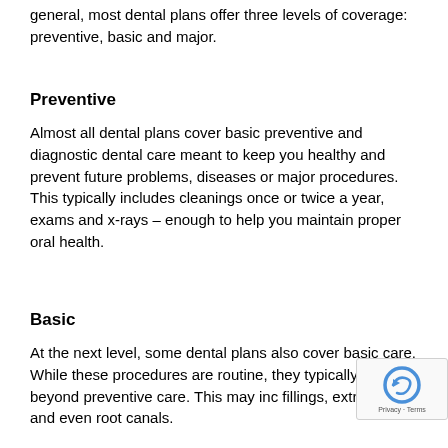general, most dental plans offer three levels of coverage: preventive, basic and major.
Preventive
Almost all dental plans cover basic preventive and diagnostic dental care meant to keep you healthy and prevent future problems, diseases or major procedures. This typically includes cleanings once or twice a year, exams and x-rays – enough to help you maintain proper oral health.
Basic
At the next level, some dental plans also cover basic care. While these procedures are routine, they typically go beyond preventive care. This may inc fillings, extractions and even root canals.